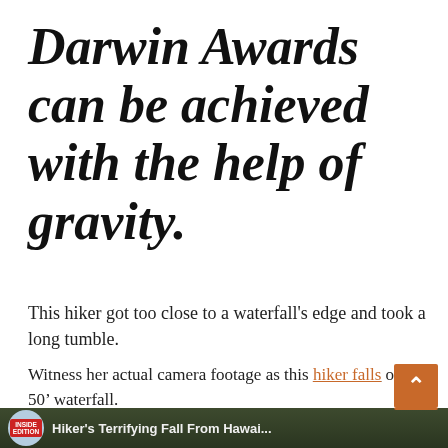Darwin Awards can be achieved with the help of gravity.
This hiker got too close to a waterfall's edge and took a long tumble.
Witness her actual camera footage as this hiker falls off a 50' waterfall.
[Figure (screenshot): Video thumbnail from Inside Edition showing 'Hiker's Terrifying Fall From Hawai...' with an orange scroll-to-top button in the corner]